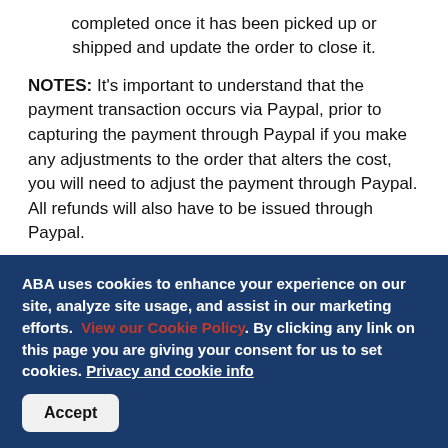completed once it has been picked up or shipped and update the order to close it.
NOTES: It's important to understand that the payment transaction occurs via Paypal, prior to capturing the payment through Paypal if you make any adjustments to the order that alters the cost, you will need to adjust the payment through Paypal. All refunds will also have to be issued through Paypal.
When an order is being paid for via ‘Paypal’,  you should see the following on the order screen:
In the ‘Payment’ box, a Transaction ID for Paypal
In the ‘Admin Comments’.
ABA uses cookies to enhance your experience on our site, analyze site usage, and assist in our marketing efforts. View our Cookie Policy. By clicking any link on this page you are giving your consent for us to set cookies. Privacy and cookie info